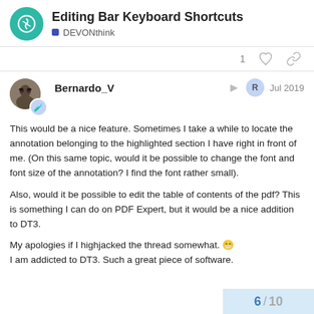Editing Bar Keyboard Shortcuts
DEVONthink
Bernardo_V  Jul 2019
This would be a nice feature. Sometimes I take a while to locate the annotation belonging to the highlighted section I have right in front of me. (On this same topic, would it be possible to change the font and font size of the annotation? I find the font rather small).
Also, would it be possible to edit the table of contents of the pdf? This is something I can do on PDF Expert, but it would be a nice addition to DT3.
My apologies if I highjacked the thread somewhat. 😁
I am addicted to DT3. Such a great piece of software.
6 / 10